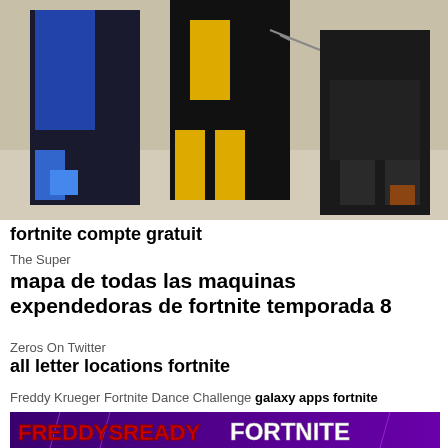[Figure (photo): Three people in Mortal Kombat costumes standing outdoors on a sandy/snowy surface. Left person in blue, center in black and yellow, right in black shorts.]
fortnite compte gratuit
The Super
mapa de todas las maquinas expendedoras de fortnite temporada 8
Zeros On Twitter
all letter locations fortnite
Freddy Krueger Fortnite Dance Challenge galaxy apps fortnite
[Figure (screenshot): Banner image with 'FREDDYSREADY' text in red graffiti style on left and 'FORTNITE' in white bold text on right, purple background with lightning effects.]